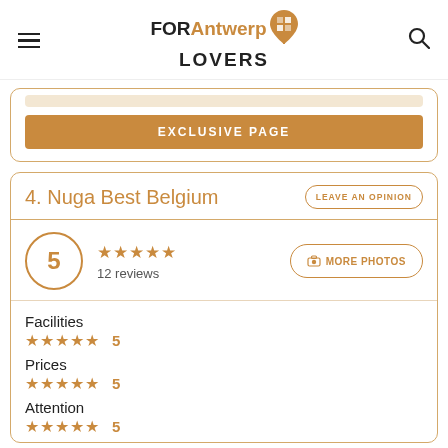FOR Antwerp LOVERS
EXCLUSIVE PAGE
4. Nuga Best Belgium
LEAVE AN OPINION
5 · 12 reviews
MORE PHOTOS
Facilities ★★★★★ 5
Prices ★★★★★ 5
Attention ★★★★★ 5